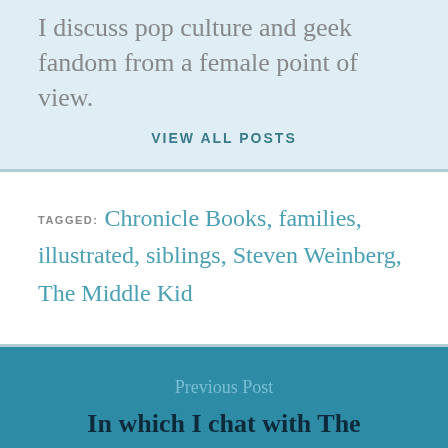I discuss pop culture and geek fandom from a female point of view.
VIEW ALL POSTS
TAGGED: Chronicle Books, families, illustrated, siblings, Steven Weinberg, The Middle Kid
Previous Post
In which I chat with The